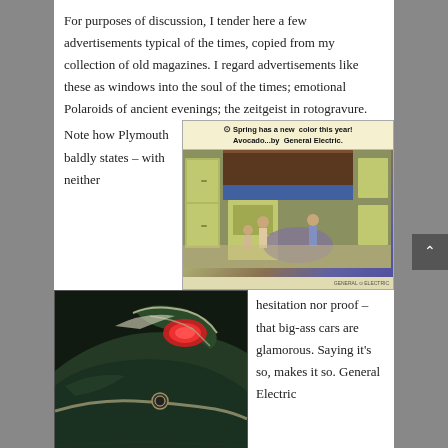For purposes of discussion, I tender here a few advertisements typical of the times, copied from my collection of old magazines. I regard advertisements like these as windows into the soul of the times; emotional Polaroids of ancient evenings; the zeitgeist in rotogravure.
[Figure (photo): Vintage General Electric advertisement showing avocado-colored kitchen appliances with headline 'Spring has a new color this year! Avocado...by General Electric.']
Note how Plymouth baldly states – with neither
[Figure (photo): Close-up photograph of a vintage Plymouth car tailfin, dark green color, showing chrome details and red tail light.]
hesitation nor proof – that big-ass cars are glamorous. Saying it's so, makes it so. General Electric